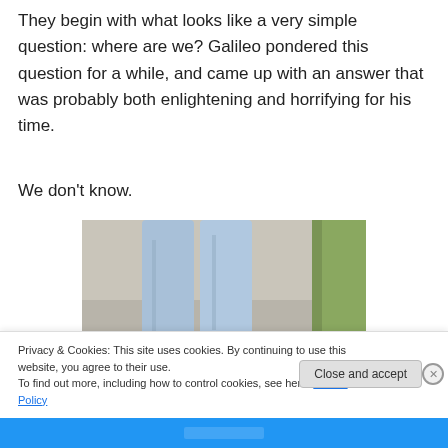They begin with what looks like a very simple question: where are we? Galileo pondered this question for a while, and came up with an answer that was probably both enlightening and horrifying for his time.
We don't know.
[Figure (photo): Person standing on a red circular marker on a sidewalk, wearing light blue jeans and brown shoes]
Privacy & Cookies: This site uses cookies. By continuing to use this website, you agree to their use.
To find out more, including how to control cookies, see here: Cookie Policy